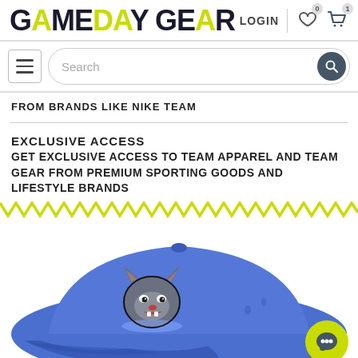GAMEDAY GEAR
FROM BRANDS LIKE NIKE TEAM
EXCLUSIVE ACCESS
GET EXCLUSIVE ACCESS TO TEAM APPAREL AND TEAM GEAR FROM PREMIUM SPORTING GOODS AND LIFESTYLE BRANDS
[Figure (illustration): Blue sports cap with panther mascot logo embroidered on front]
[Figure (illustration): Lime green chat bubble icon in bottom right corner]